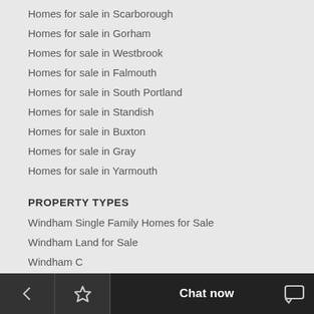Homes for sale in Scarborough
Homes for sale in Gorham
Homes for sale in Westbrook
Homes for sale in Falmouth
Homes for sale in South Portland
Homes for sale in Standish
Homes for sale in Buxton
Homes for sale in Gray
Homes for sale in Yarmouth
PROPERTY TYPES
Windham Single Family Homes for Sale
Windham Land for Sale
Windham Condo...